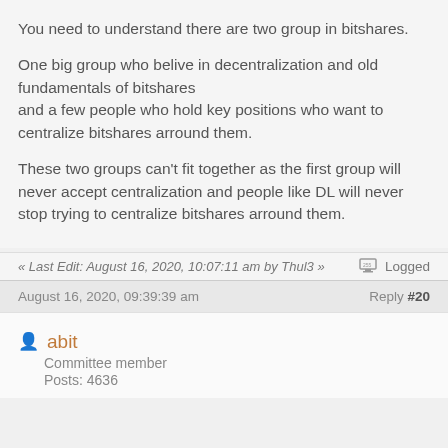You need to understand there are two group in bitshares.
One big group who belive in decentralization and old fundamentals of bitshares
and a few people who hold key positions who want to centralize bitshares arround them.
These two groups can't fit together as the first group will never accept centralization and people like DL will never stop trying to centralize bitshares arround them.
« Last Edit: August 16, 2020, 10:07:11 am by Thul3 »
Logged
August 16, 2020, 09:39:39 am    Reply #20
abit
Committee member
Posts: 4636